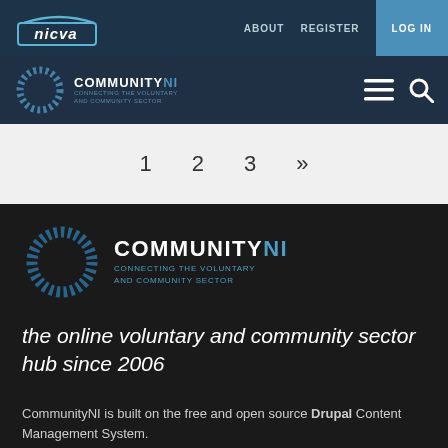nicva | ABOUT  REGISTER  LOG IN
[Figure (logo): CommunityNI logo with circular dotted ring and text COMMUNITYNI CONNECTING THE VOLUNTARY AND COMMUNITY SECTOR]
1  2  3  »
[Figure (logo): CommunityNI large logo on dark background with circular dotted ring and text COMMUNITYNI CONNECTING THE VOLUNTARY AND COMMUNITY SECTOR]
the online voluntary and community sector hub since 2006
CommunityNI is built on the free and open source Drupal Content Management System.